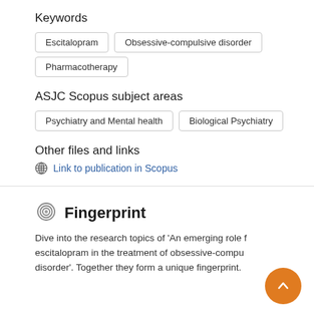Keywords
Escitalopram
Obsessive-compulsive disorder
Pharmacotherapy
ASJC Scopus subject areas
Psychiatry and Mental health
Biological Psychiatry
Other files and links
Link to publication in Scopus
Fingerprint
Dive into the research topics of 'An emerging role for escitalopram in the treatment of obsessive-compulsive disorder'. Together they form a unique fingerprint.